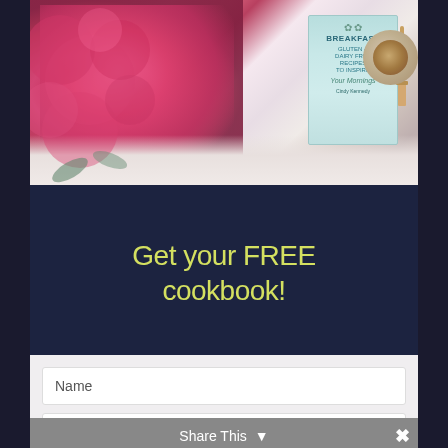[Figure (photo): Cookbook titled 'Breakfast Gluten & Dairy Free Recipes to Inspire Your Mornings' by Cindy Kennedy, displayed on white cloth with pink peonies flowers on the left and a coffee cup on the right]
Get your FREE cookbook!
[Figure (screenshot): Form section with Name and Email input fields on light grey background, with a Share This toolbar at the bottom with close X button]